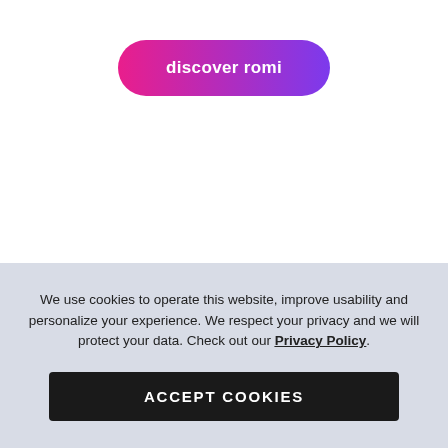[Figure (other): A pill-shaped button with a pink-to-purple gradient reading 'discover romi' in white bold text]
We use cookies to operate this website, improve usability and personalize your experience. We respect your privacy and we will protect your data. Check out our Privacy Policy.
[Figure (other): A dark rectangular button reading 'ACCEPT COOKIES' in white bold uppercase text]